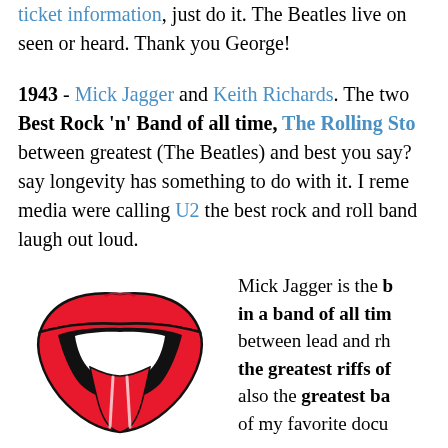ticket information, just do it. The Beatles live on seen or heard. Thank you George!
1943 - Mick Jagger and Keith Richards. The two Best Rock 'n' Band of all time, The Rolling Stones between greatest (The Beatles) and best you say? say longevity has something to do with it. I remen media were calling U2 the best rock and roll band laugh out loud.
[Figure (logo): Rolling Stones tongue and lips logo - red lips with extended red tongue and black outline on white background]
Mick Jagger is the b in a band of all tim between lead and rh the greatest riffs of also the greatest ba of my favorite docu